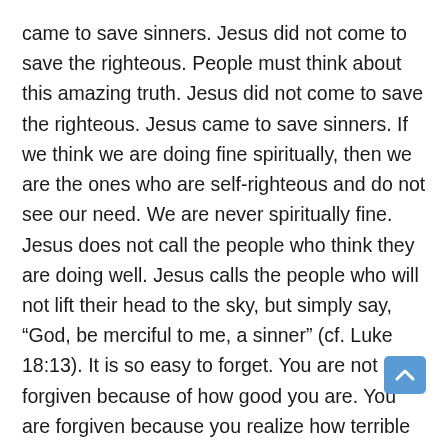came to save sinners. Jesus did not come to save the righteous. People must think about this amazing truth. Jesus did not come to save the righteous. Jesus came to save sinners. If we think we are doing fine spiritually, then we are the ones who are self-righteous and do not see our need. We are never spiritually fine. Jesus does not call the people who think they are doing well. Jesus calls the people who will not lift their head to the sky, but simply say, “God, be merciful to me, a sinner” (cf. Luke 18:13). It is so easy to forget. You are not forgiven because of how good you are. You are forgiven because you realize how terrible your sins are.
Why did Jesus call Levi? Why are tax collectors and sinners following Jesus? Why is Jesus befriending tax collectors and sinners? Why is Jesus eating with tax collectors and